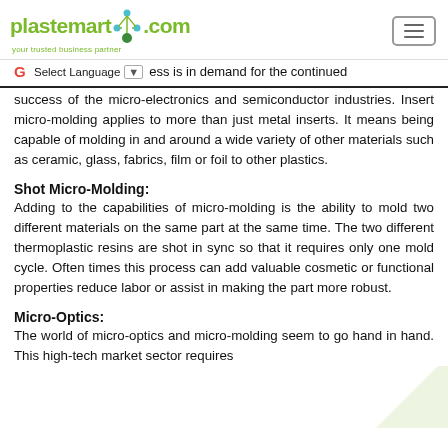plastemart.com — your trusted business partner
ess is in demand for the continued success of the micro-electronics and semiconductor industries. Insert micro-molding applies to more than just metal inserts. It means being capable of molding in and around a wide variety of other materials such as ceramic, glass, fabrics, film or foil to other plastics.
Shot Micro-Molding:
Adding to the capabilities of micro-molding is the ability to mold two different materials on the same part at the same time. The two different thermoplastic resins are shot in sync so that it requires only one mold cycle. Often times this process can add valuable cosmetic or functional properties reduce labor or assist in making the part more robust.
Micro-Optics:
The world of micro-optics and micro-molding seem to go hand in hand. This high-tech market sector requires